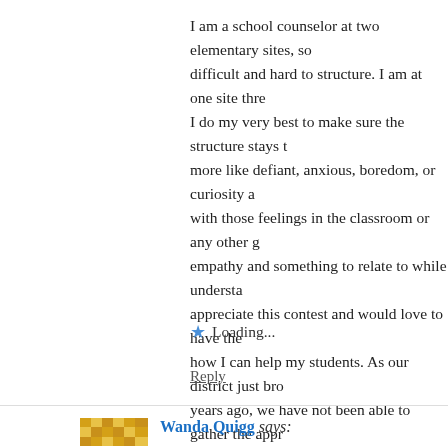I am a school counselor at two elementary sites, so difficult and hard to structure. I am at one site thre I do my very best to make sure the structure stays t more like defiant, anxious, boredom, or curiosity a with those feelings in the classroom or any other g empathy and something to relate to while understa appreciate this contest and would love to have the how I can help my students. As our district just bro years ago, we have not been able to gather the appr more on our own. I would really like to setup our co need to succeed!
Loading...
Reply
Wanda Quigg says: